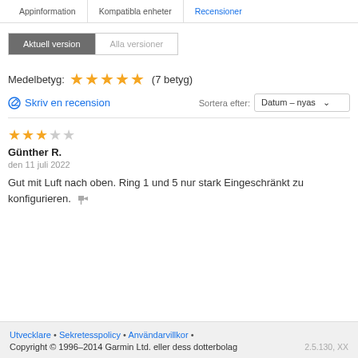Appinformation   Kompatibla enheter   Recensioner
Aktuell version   Alla versioner
Medelbetyg: ★★★★★ (7 betyg)
Skriv en recension   Sortera efter: Datum – nyas
★★★☆☆
Günther R.
den 11 juli 2022
Gut mit Luft nach oben. Ring 1 und 5 nur stark Eingeschränkt zu konfigurieren.
Utvecklare • Sekretesspolicy • Användarvillkor •
Copyright © 1996–2014 Garmin Ltd. eller dess dotterbolag    2.5.130, XX